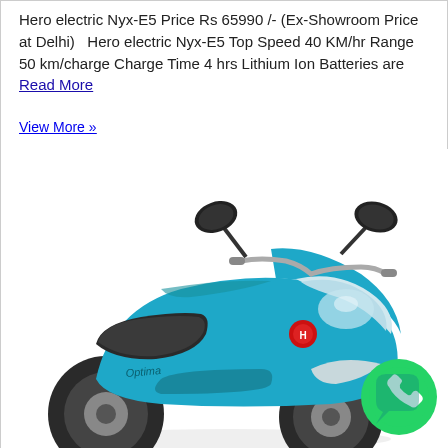Hero electric Nyx-E5 Price Rs 65990 /- (Ex-Showroom Price at Delhi)   Hero electric Nyx-E5 Top Speed 40 KM/hr Range 50 km/charge Charge Time 4 hrs Lithium Ion Batteries are Read More
View More »
[Figure (photo): A blue Hero electric Nyx-E5 scooter shown from a front-right angle, with black side mirrors, a front headlight panel, red Hero logo on the body, and a WhatsApp icon button in the lower right corner.]